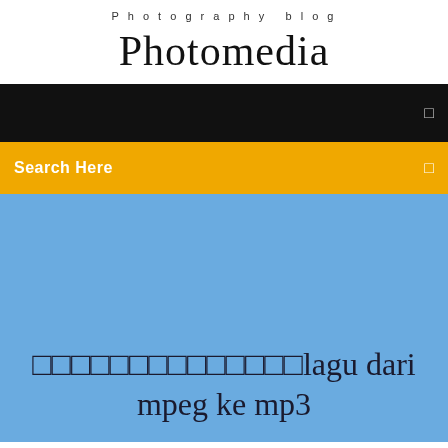Photography blog
Photomedia
[Figure (screenshot): Black navigation bar with a small square icon on the right]
[Figure (screenshot): Yellow/orange search bar with 'Search Here' text on left and a small square icon on the right]
□□□□□□□□□□□□□□lagu dari mpeg ke mp3